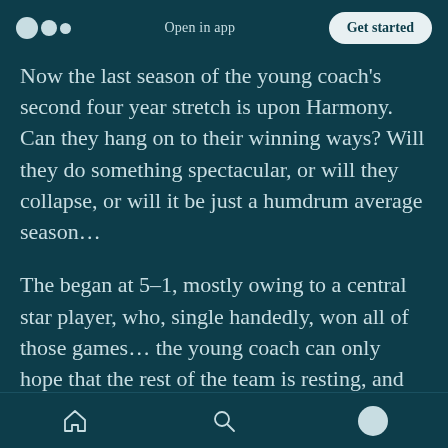Open in app | Get started
Now the last season of the young coach's second four year stretch is upon Harmony. Can they hang on to their winning ways? Will they do something spectacular, or will they collapse, or will it be just a humdrum average season…
The began at 5–1, mostly owing to a central star player, who, single handedly, won all of those games… the young coach can only hope that the rest of the team is resting, and will be able to step-up if the star slows down…
Now they are at 10–5 — after a stretch barely
Home | Search | Profile